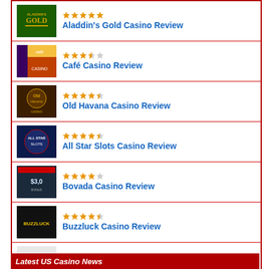Aladdin's Gold Casino Review
Café Casino Review
Old Havana Casino Review
All Star Slots Casino Review
Bovada Casino Review
Buzzluck Casino Review
Gossip Slots Casino Review
Latest US Casino News